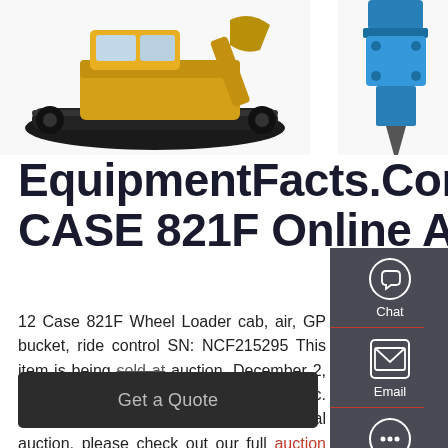[Figure (photo): Yellow tracked excavator/crawler machine photographed from the side, showing undercarriage and tracks, positioned in upper left of page]
[Figure (photo): Blue hydraulic breaker/hammer attachment shown partially in upper right corner of page]
EquipmentFacts.Com | 2012 CASE 821F Online Auctions
12 Case 821F Wheel Loader cab, air, GP bucket, ride control SN: NCF215295 This item is being sold at auction, December 2, 2021 at Quarrick Equipment Auctions, Inc. Very large construction and agricultural auction, please check out our full auction catalog for other items
[Figure (other): Right side panel with Chat, Email, and Contact icons on dark gray background]
Get a Quote